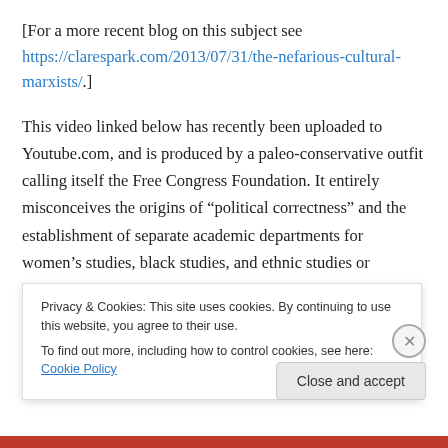[For a more recent blog on this subject see https://clarespark.com/2013/07/31/the-nefarious-cultural-marxists/.]
This video linked below has recently been uploaded to Youtube.com, and is produced by a paleo-conservative outfit calling itself the Free Congress Foundation. It entirely misconceives the origins of "political correctness" and the establishment of separate academic departments for women's studies, black studies, and ethnic studies or
Privacy & Cookies: This site uses cookies. By continuing to use this website, you agree to their use.
To find out more, including how to control cookies, see here: Cookie Policy
Close and accept